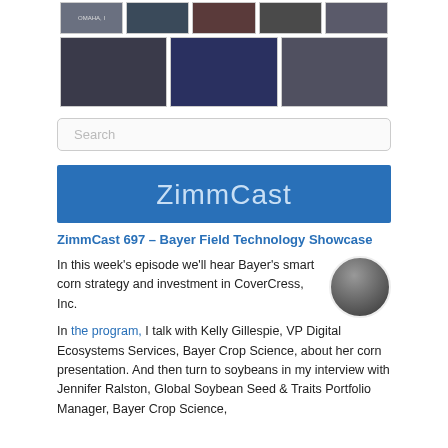[Figure (photo): Row of small event/conference photos at top of page]
[Figure (photo): Second row of three conference/event photos]
Search
[Figure (other): ZimmCast blue banner header]
ZimmCast 697 – Bayer Field Technology Showcase
In this week's episode we'll hear Bayer's smart corn strategy and investment in CoverCress, Inc.
In the program, I talk with Kelly Gillespie, VP Digital Ecosystems Services, Bayer Crop Science, about her corn presentation. And then turn to soybeans in my interview with Jennifer Ralston, Global Soybean Seed & Traits Portfolio Manager, Bayer Crop Science,